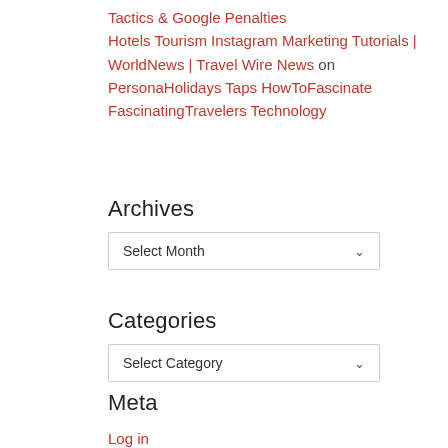Tactics & Google Penalties Hotels Tourism Instagram Marketing Tutorials | WorldNews | Travel Wire News on PersonaHolidays Taps HowToFascinate FascinatingTravelers Technology
Archives
Select Month
Categories
Select Category
Meta
Log in
Entries feed
Comments feed